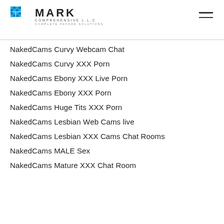MARK COMPREHENSIVE L.L.C — COMPLETE FACADE SOLUTIONS
NakedCams Curvy Webcam Chat
NakedCams Curvy XXX Porn
NakedCams Ebony XXX Live Porn
NakedCams Ebony XXX Porn
NakedCams Huge Tits XXX Porn
NakedCams Lesbian Web Cams live
NakedCams Lesbian XXX Cams Chat Rooms
NakedCams MALE Sex
NakedCams Mature XXX Chat Room